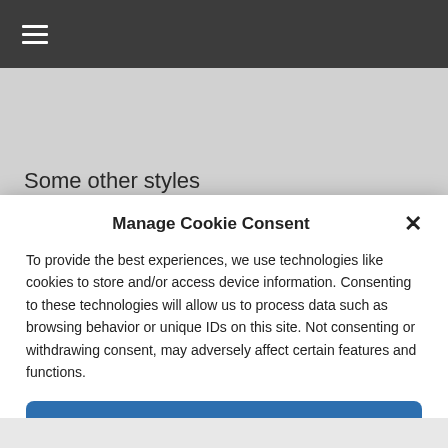≡
Some other styles
[Figure (logo): Green rectangular logo with white letter W]
ith many years of art-making experience at hand, I am blessed to have my works featured in numerous
Manage Cookie Consent
To provide the best experiences, we use technologies like cookies to store and/or access device information. Consenting to these technologies will allow us to process data such as browsing behavior or unique IDs on this site. Not consenting or withdrawing consent, may adversely affect certain features and functions.
Accept